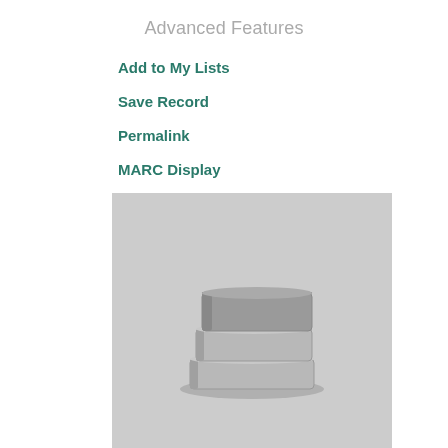Advanced Features
Add to My Lists
Save Record
Permalink
MARC Display
[Figure (illustration): Gray placeholder book cover image showing a stack of three books icon on a light gray background]